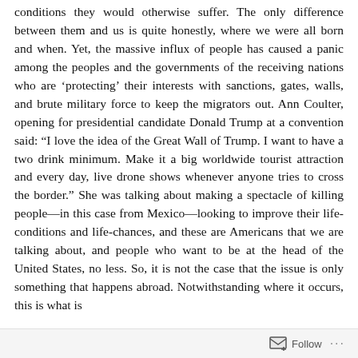conditions they would otherwise suffer. The only difference between them and us is quite honestly, where we were all born and when. Yet, the massive influx of people has caused a panic among the peoples and the governments of the receiving nations who are 'protecting' their interests with sanctions, gates, walls, and brute military force to keep the migrators out. Ann Coulter, opening for presidential candidate Donald Trump at a convention said: “I love the idea of the Great Wall of Trump. I want to have a two drink minimum. Make it a big worldwide tourist attraction and every day, live drone shows whenever anyone tries to cross the border.” She was talking about making a spectacle of killing people—in this case from Mexico—looking to improve their life-conditions and life-chances, and these are Americans that we are talking about, and people who want to be at the head of the United States, no less. So, it is not the case that the issue is only something that happens abroad. Notwithstanding where it occurs, this is what is
Follow